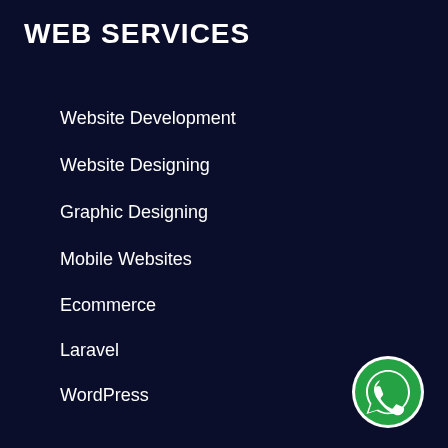WEB SERVICES
Website Development
Website Designing
Graphic Designing
Mobile Websites
Ecommerce
Laravel
WordPress
Shopify Experts
Woocommerce
Magento
[Figure (logo): WhatsApp logo — green circle with white phone handset icon]